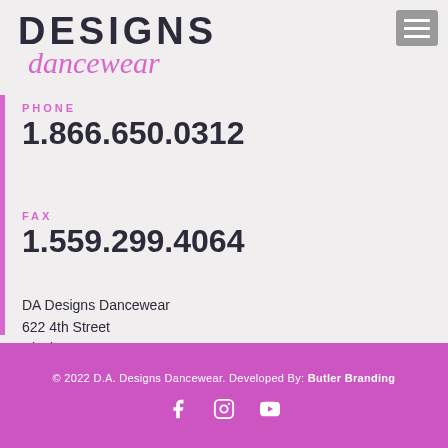DESIGNS dancewear
PHONE
1.866.650.0312
FAX
1.559.299.4064
DA Designs Dancewear
622 4th Street
Clovis, CA 93612
© 2022 D.A. Designs Dancewear. Developed By: Butler Branding